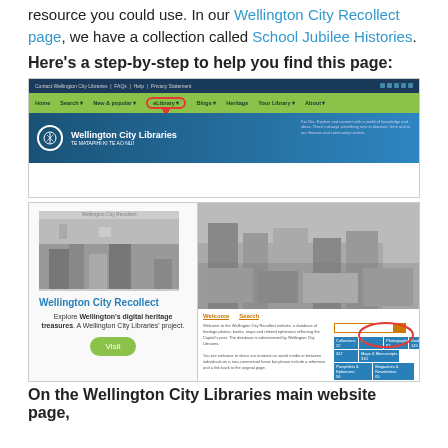resource you could use. In our Wellington City Recollect page, we have a collection called School Jubilee Histories.
Here's a step-by-step to help you find this page:
[Figure (screenshot): Screenshot of Wellington City Libraries website with eLibrary navigation item circled in red]
[Figure (screenshot): Two-panel screenshot showing Wellington City Recollect page with Visit button and the Recollect database interface showing Welcome and Search tabs with a red oval circled around statistics]
On the Wellington City Libraries main website page,